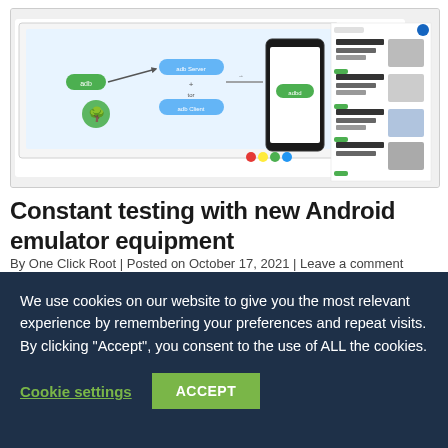[Figure (screenshot): Screenshot of a browser showing an Android ADB diagram tutorial on a tech website, with a laptop and phone showing 'adbd' connection, alongside a list of related articles on the right side.]
Constant testing with new Android emulator equipment
By One Click Root | Posted on October 17, 2021 | Leave a comment
We use cookies on our website to give you the most relevant experience by remembering your preferences and repeat visits. By clicking "Accept", you consent to the use of ALL the cookies.
Cookie settings  ACCEPT